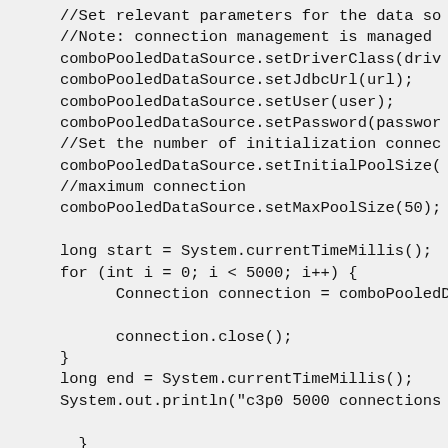//Set relevant parameters for the data so
//Note: connection management is managed
comboPooledDataSource.setDriverClass(driv
comboPooledDataSource.setJdbcUrl(url);
comboPooledDataSource.setUser(user);
comboPooledDataSource.setPassword(passwor
//Set the number of initialization connec
comboPooledDataSource.setInitialPoolSize(
//maximum connection
comboPooledDataSource.setMaxPoolSize(50);

long start = System.currentTimeMillis();
for (int i = 0; i < 5000; i++) {
    Connection connection = comboPooledDa

    connection.close();
}
long end = System.currentTimeMillis();
System.out.println("c3p0 5000 connections

}